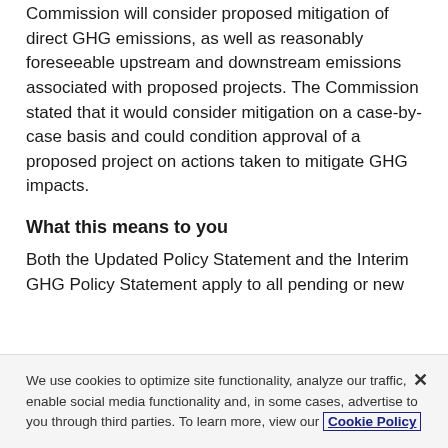Commission will consider proposed mitigation of direct GHG emissions, as well as reasonably foreseeable upstream and downstream emissions associated with proposed projects. The Commission stated that it would consider mitigation on a case-by-case basis and could condition approval of a proposed project on actions taken to mitigate GHG impacts.
What this means to you
Both the Updated Policy Statement and the Interim GHG Policy Statement apply to all pending or new
We use cookies to optimize site functionality, analyze our traffic, enable social media functionality and, in some cases, advertise to you through third parties. To learn more, view our Cookie Policy